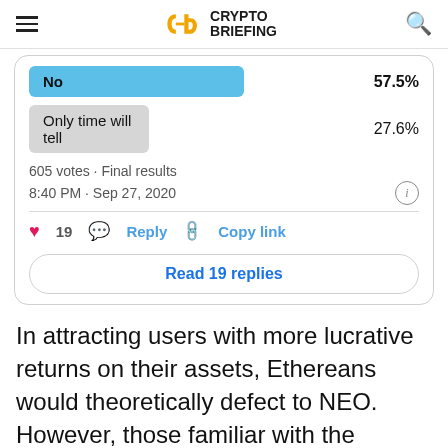Crypto Briefing
[Figure (screenshot): Poll results showing: No 57.5%, Only time will tell 27.6%, 605 votes · Final results, 8:40 PM · Sep 27, 2020. Actions: 19 likes, Reply, Copy link. Read 19 replies button.]
In attracting users with more lucrative returns on their assets, Ethereans would theoretically defect to NEO. However, those familiar with the SushiSwap attack know that these sorts of incentives rarely trump hard-earned community support.